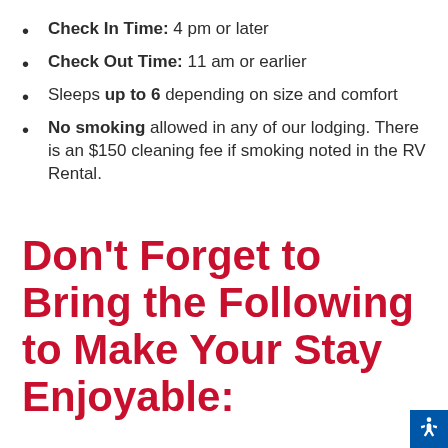Check In Time: 4 pm or later
Check Out Time: 11 am or earlier
Sleeps up to 6 depending on size and comfort
No smoking allowed in any of our lodging. There is an $150 cleaning fee if smoking noted in the RV Rental.
Don't Forget to Bring the Following to Make Your Stay Enjoyable: